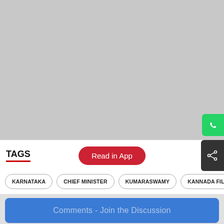[Figure (photo): Grey placeholder image area occupying top portion of the page]
TAGS
Read in App
KARNATAKA
CHIEF MINISTER
KUMARASWAMY
KANNADA FILM
Comments - Join the Discussion